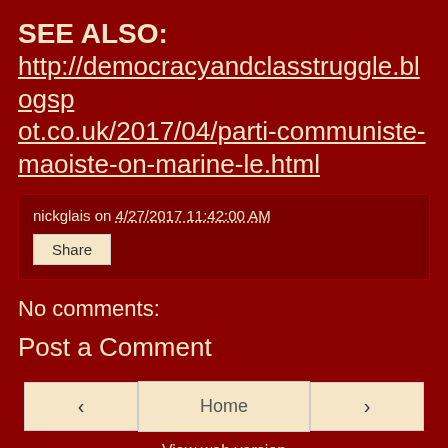SEE ALSO:
http://democracyandclassstruggle.blogspot.co.uk/2017/04/parti-communiste-maoiste-on-marine-le.html
nickglais on 4/27/2017 11:42:00 AM
Share
No comments:
Post a Comment
‹
Home
›
View web version